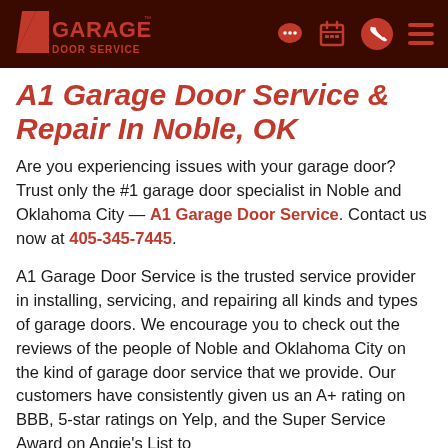A1 Garage Door Service — header with logo and nav icons
A1 Garage Door Service & Repair In Noble, OK
Are you experiencing issues with your garage door? Trust only the #1 garage door specialist in Noble and Oklahoma City — A1 Garage Door Service. Contact us now at 405-345-7445.
A1 Garage Door Service is the trusted service provider in installing, servicing, and repairing all kinds and types of garage doors. We encourage you to check out the reviews of the people of Noble and Oklahoma City on the kind of garage door service that we provide. Our customers have consistently given us an A+ rating on BBB, 5-star ratings on Yelp, and the Super Service Award on Angie's List to